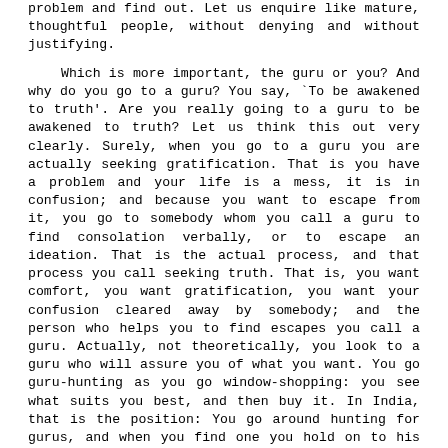problem and find out. Let us enquire like mature, thoughtful people, without denying and without justifying.

Which is more important, the guru or you? And why do you go to a guru? You say, `To be awakened to truth'. Are you really going to a guru to be awakened to truth? Let us think this out very clearly. Surely, when you go to a guru you are actually seeking gratification. That is you have a problem and your life is a mess, it is in confusion; and because you want to escape from it, you go to somebody whom you call a guru to find consolation verbally, or to escape an ideation. That is the actual process, and that process you call seeking truth. That is, you want comfort, you want gratification, you want your confusion cleared away by somebody; and the person who helps you to find escapes you call a guru. Actually, not theoretically, you look to a guru who will assure you of what you want. You go guru-hunting as you go window-shopping: you see what suits you best, and then buy it. In India, that is the position: You go around hunting for gurus, and when you find one you hold on to his feet or neck or hand till he gratifies you. To touch a man's feet - that is one of the most extraordinary things. You touch the guru's feet and kick your servants, and thereby you destroy human beings, you lose human significance. So, you go to a guru to find gratification, not truth. The idea may be that he should awaken you to truth, but the actual fact is that you find comfort. Why? Because you say, `I can't solve my problem, somebody must help me'. Can anybody help you to solve the confusion which you have created? What is confusion? Confusion with regard to what, suffering with regard to what? Confusion and suffering exist in